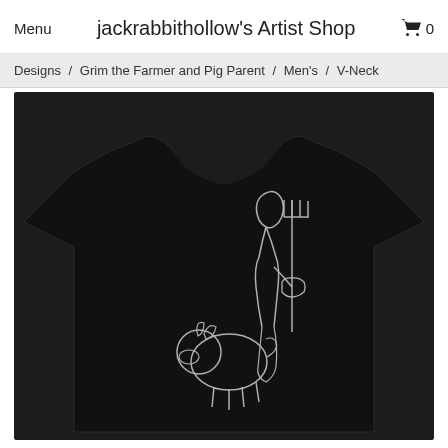Menu   jackrabbithollow's Artist Shop   0
Designs / Grim the Farmer and Pig Parent / Men's / V-Neck
[Figure (photo): Black v-neck t-shirt displayed on a dark background, featuring a minimalist white line drawing of a grim reaper farmer figure holding a pitchfork beside a sitting pig.]